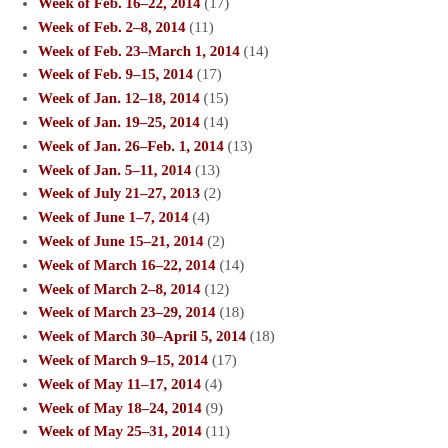Week of Feb. 16–22, 2014 (17)
Week of Feb. 2–8, 2014 (11)
Week of Feb. 23–March 1, 2014 (14)
Week of Feb. 9–15, 2014 (17)
Week of Jan. 12–18, 2014 (15)
Week of Jan. 19–25, 2014 (14)
Week of Jan. 26–Feb. 1, 2014 (13)
Week of Jan. 5–11, 2014 (13)
Week of July 21–27, 2013 (2)
Week of June 1–7, 2014 (4)
Week of June 15–21, 2014 (2)
Week of March 16–22, 2014 (14)
Week of March 2–8, 2014 (12)
Week of March 23–29, 2014 (18)
Week of March 30–April 5, 2014 (18)
Week of March 9–15, 2014 (17)
Week of May 11–17, 2014 (4)
Week of May 18–24, 2014 (9)
Week of May 25–31, 2014 (11)
Week of May 4–10, 2014 (8)
Week of Nov. 10–16, 2013 (11)
Week of Nov. 17–23, 2013 (15)
Week of Nov. 24–30, 2013 (6)
Week of Nov. 3–9, 2013 (15)
Week of Oct. 13–19, 2013 (9)
Week of Oct. 20–26, 2013 (18)